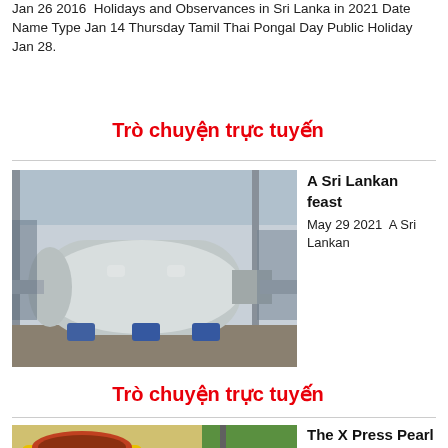Jan 26 2016  Holidays and Observances in Sri Lanka in 2021 Date Name Type Jan 14 Thursday Tamil Thai Pongal Day Public Holiday Jan 28.
Trò chuyện trực tuyến
[Figure (photo): Industrial machine — a large cylindrical metal drum/roller on a factory floor, with blue base supports, in an industrial workshop setting.]
A Sri Lankan feast
May 29 2021  A Sri Lankan
Trò chuyện trực tuyến
[Figure (photo): Yellow industrial crusher or mill machine outdoors, with red/brown material inside the opening, next to a green lawn area.]
The X Press Pearl Fire